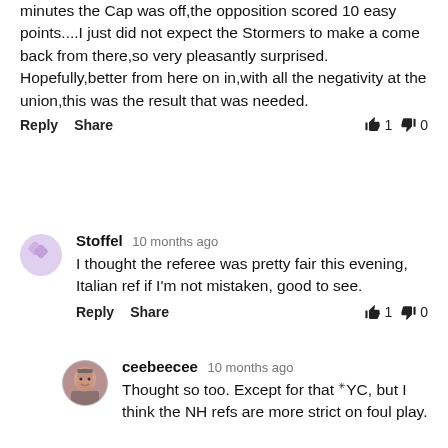minutes the Cap was off,the opposition scored 10 easy points....I just did not expect the Stormers to make a come back from there,so very pleasantly surprised.

Hopefully,better from here on in,with all the negativity at the union,this was the result that was needed.
Reply  Share   👍1  👎0
Stoffel  10 months ago
I thought the referee was pretty fair this evening, Italian ref if I'm not mistaken, good to see.
Reply  Share   👍1  👎0
ceebeecee  10 months ago
Thought so too. Except for that YC, but I think the NH refs are more strict on foul play.